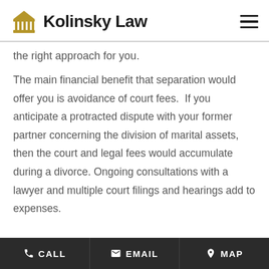Kolinsky Law
the right approach for you.
The main financial benefit that separation would offer you is avoidance of court fees.  If you anticipate a protracted dispute with your former partner concerning the division of marital assets, then the court and legal fees would accumulate during a divorce. Ongoing consultations with a lawyer and multiple court filings and hearings add to expenses.
CALL  EMAIL  MAP